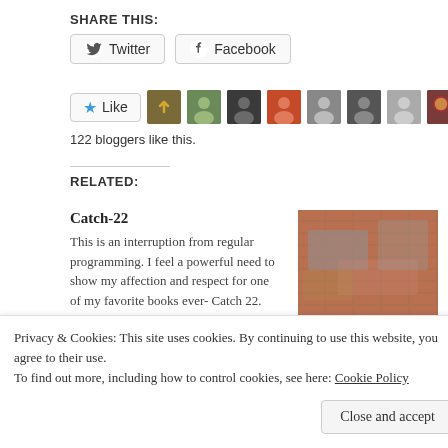SHARE THIS:
Twitter  Facebook
[Figure (infographic): Like button with star icon, followed by 9 avatar thumbnails of bloggers]
122 bloggers like this.
RELATED:
Catch-22
This is an interruption from regular programming. I feel a powerful need to show my affection and respect for one of my favorite books ever- Catch 22. So, bear with me thru a coarse
August 7, 2019
In "Subservience to a Color of the
[Figure (photo): Brick wall with faded colorful paint/graffiti]
An Exhibition of Trials
February 12, 2019
Privacy & Cookies: This site uses cookies. By continuing to use this website, you agree to their use.
To find out more, including how to control cookies, see here: Cookie Policy
Close and accept